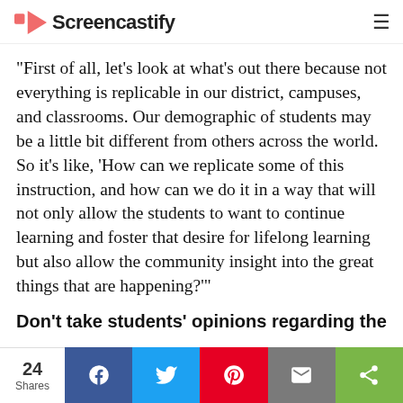Screencastify
"First of all, let's look at what's out there because not everything is replicable in our district, campuses, and classrooms. Our demographic of students may be a little bit different from others across the world. So it's like, 'How can we replicate some of this instruction, and how can we do it in a way that will not only allow the students to want to continue learning and foster that desire for lifelong learning but also allow the community insight into the great things that are happening?'"
Don't take students' opinions regarding the
24 Shares  f  Twitter  Pinterest  Mail  Share